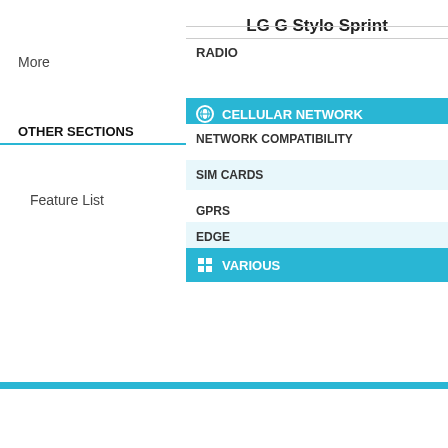LG G Stylo Sprint
More
RADIO
OTHER SECTIONS
Feature List
CELLULAR NETWORK
NETWORK COMPATIBILITY
SIM CARDS
GPRS
EDGE
VARIOUS
</> Embed Data Table
Global   United States   United Kingdom   India   T…
We cannot guarantee the validity of information found here. ©2021 Coperno